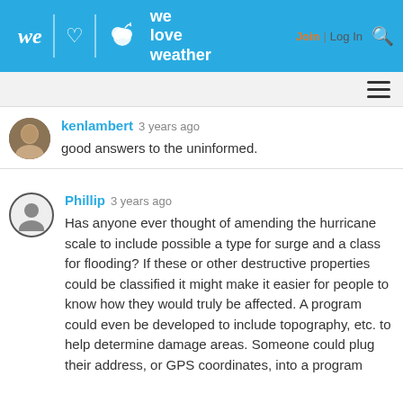we love weather — Join | Log In
kenlambert 3 years ago
good answers to the uninformed.
Phillip 3 years ago
Has anyone ever thought of amending the hurricane scale to include possible a type for surge and a class for flooding? If these or other destructive properties could be classified it might make it easier for people to know how they would truly be affected. A program could even be developed to include topography, etc. to help determine damage areas. Someone could plug their address, or GPS coordinates, into a program